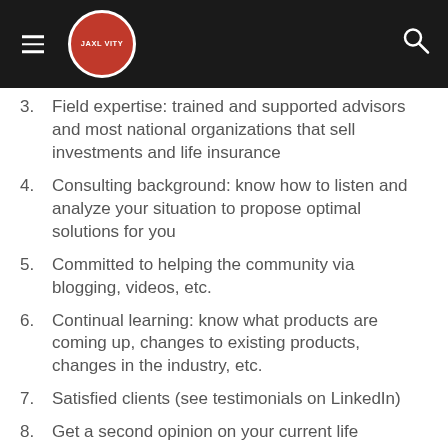JAXLVITY
3. Field expertise: trained and supported advisors and most national organizations that sell investments and life insurance
4. Consulting background: know how to listen and analyze your situation to propose optimal solutions for you
5. Committed to helping the community via blogging, videos, etc.
6. Continual learning: know what products are coming up, changes to existing products, changes in the industry, etc.
7. Satisfied clients (see testimonials on LinkedIn)
8. Get a second opinion on your current life insurance free of charge (insurance audit)